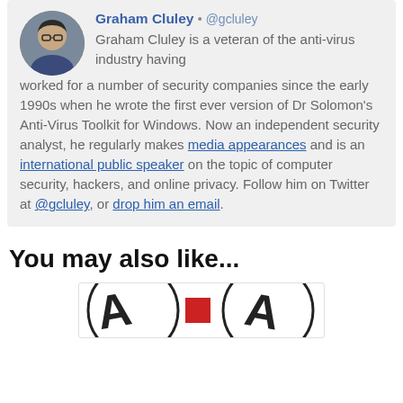[Figure (photo): Circular avatar photo of Graham Cluley, a man with glasses]
Graham Cluley • @gcluley
Graham Cluley is a veteran of the anti-virus industry having worked for a number of security companies since the early 1990s when he wrote the first ever version of Dr Solomon's Anti-Virus Toolkit for Windows. Now an independent security analyst, he regularly makes media appearances and is an international public speaker on the topic of computer security, hackers, and online privacy. Follow him on Twitter at @gcluley, or drop him an email.
You may also like...
[Figure (illustration): Partial preview image at bottom of page showing a circular logo with a red square element]